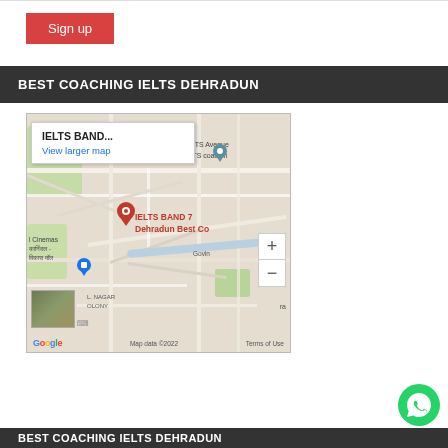Sign up
BEST COACHING IELTS DEHRADUN
[Figure (map): Google Map showing IELTS BAND 7 Dehradun Best Coaching location with a red pin marker, blue location pin for Carnival Cinemas / Vikas Mall area, zoom controls, a popup showing 'IELTS BAND...' with 'View larger map' link, and map footer showing Map data ©2022, Terms of Use. Map includes labels: IELTS BAND 7 Dehradun Best Co, he IELTS Avenue st IELTS coachin, l Cinemas, कार्निवल - विकास मॉल, Govin, L. NAGAR OLONY, ra.]
BEST COACHING IELTS DEHRADUN